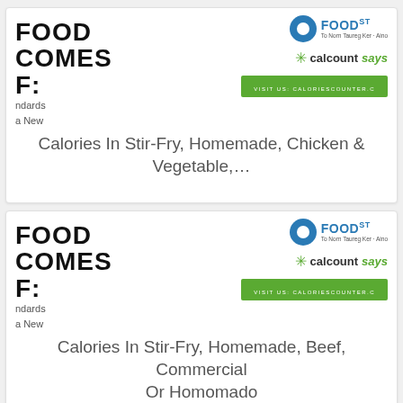[Figure (screenshot): Card showing truncated 'FOOD COMES FROM:' text with Food Standards Australia New Zealand logo, calcount says logo, visit us banner, and title 'Calories In Stir-Fry, Homemade, Chicken & Vegetable,...']
Calories In Stir-Fry, Homemade, Chicken & Vegetable,…
[Figure (screenshot): Card showing truncated 'FOOD COMES FROM:' text with Food Standards Australia New Zealand logo, calcount says logo, visit us banner, and title 'Calories In Stir-Fry, Homemade, Beef, Commercial Or Homomado']
Calories In Stir-Fry, Homemade, Beef, Commercial Or Homomado